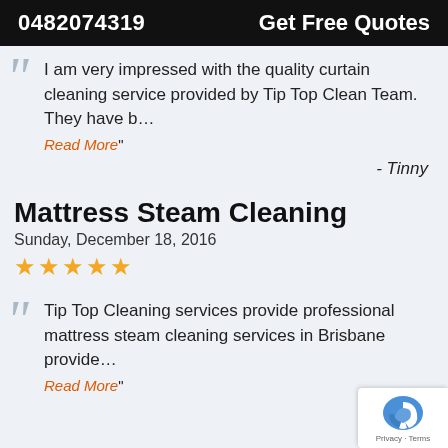0482074319   Get Free Quotes
I am very impressed with the quality curtain cleaning service provided by Tip Top Clean Team. They have b…
Read More"
- Tinny
Mattress Steam Cleaning
Sunday, December 18, 2016
★★★★★
Tip Top Cleaning services provide professional mattress steam cleaning services in Brisbane provide…
Read More"